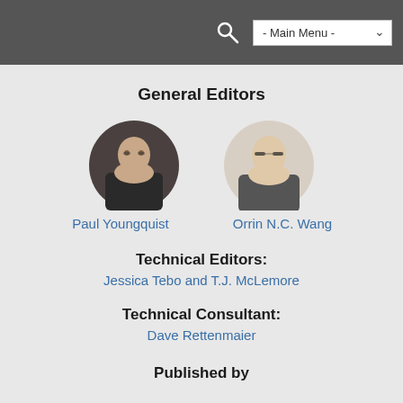- Main Menu -
General Editors
[Figure (photo): Circular headshot photo of Paul Youngquist]
Paul Youngquist
[Figure (photo): Circular headshot photo of Orrin N.C. Wang]
Orrin N.C. Wang
Technical Editors:
Jessica Tebo and T.J. McLemore
Technical Consultant:
Dave Rettenmaier
Published by